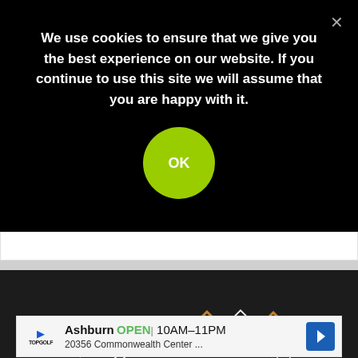We use cookies to ensure that we give you the best experience on our website. If you continue to use this site we will assume that you are happy with it.
OK
[Figure (illustration): A bronze/copper-colored artistic face/head sculpture with the top open, floating various shapes (circles, squares, stars, wavy lines) in copper and white against a dark background, symbolizing creative or cognitive activity.]
Ashburn OPEN 10AM–11PM 20356 Commonwealth Center ...